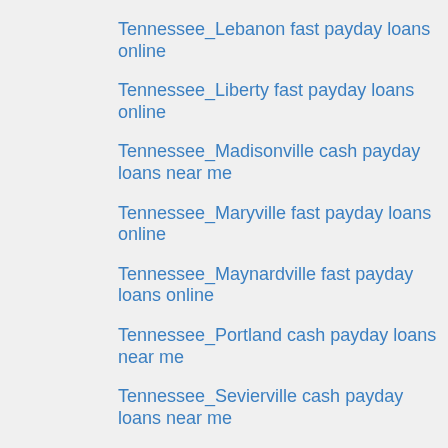Tennessee_Lebanon fast payday loans online
Tennessee_Liberty fast payday loans online
Tennessee_Madisonville cash payday loans near me
Tennessee_Maryville fast payday loans online
Tennessee_Maynardville fast payday loans online
Tennessee_Portland cash payday loans near me
Tennessee_Sevierville cash payday loans near me
Tennessee_Sharon cash payday loans near me
Tennessee_Shelbyville cash payday loans near me
ThaiFriendly visitors
the inner circle visitors
The League aplicacion gratis
tips to writing a research paper
title advance loan
title advance loans near me